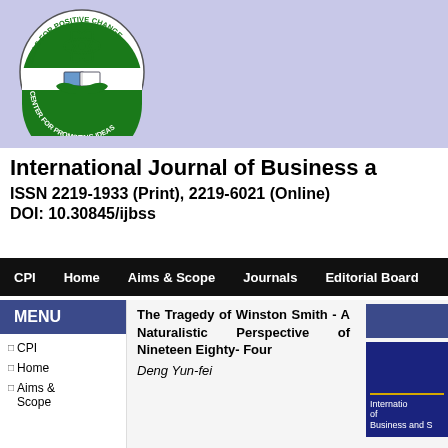[Figure (logo): Center for Promoting Ideas circular logo with atom, book, and hands icons. Text reads 'Ideas for Positive Change' and 'Center for Promoting Ideas'.]
International Journal of Business a
ISSN 2219-1933 (Print), 2219-6021 (Online)
DOI: 10.30845/ijbss
CPI | Home | Aims & Scope | Journals | Editorial Board
MENU
CPI
Home
Aims & Scope
The Tragedy of Winston Smith - A Naturalistic Perspective of Nineteen Eighty- Four
Deng Yun-fei
[Figure (illustration): Blue book cover showing 'International Journal of Business and S']